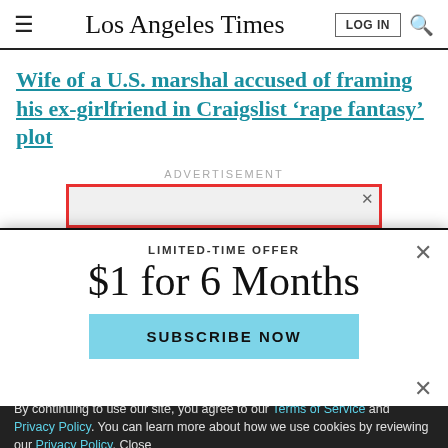Los Angeles Times
Wife of a U.S. marshal accused of framing his ex-girlfriend in Craigslist ‘rape fantasy’ plot
ADVERTISEMENT
LIMITED-TIME OFFER
$1 for 6 Months
SUBSCRIBE NOW
By continuing to use our site, you agree to our Terms of Service and Privacy Policy. You can learn more about how we use cookies by reviewing our Privacy Policy. Close